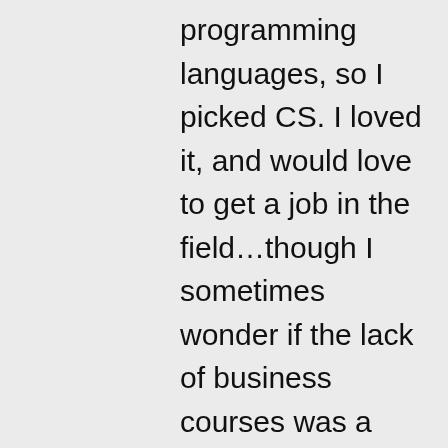programming languages, so I picked CS. I loved it, and would love to get a job in the field…though I sometimes wonder if the lack of business courses was a mistake. I haven't made up my mind about the Information Systems. I'm still not that interested in the business side of things, and I'm definitely not interested in management-level work… except for what I'd need as a sole proprietor. 😉 (Basically,